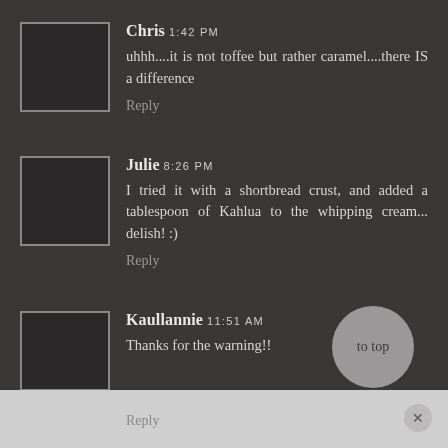Chris 1:42 PM
uhhh....it is not toffee but rather caramel....there IS a difference
Reply
Julie 8:26 PM
I tried it with a shortbread crust, and added a tablespoon of Kahlua to the whipping cream... delish! :)
Reply
Kaullannie 11:51 AM
Thanks for the warning!!
Reply
to top